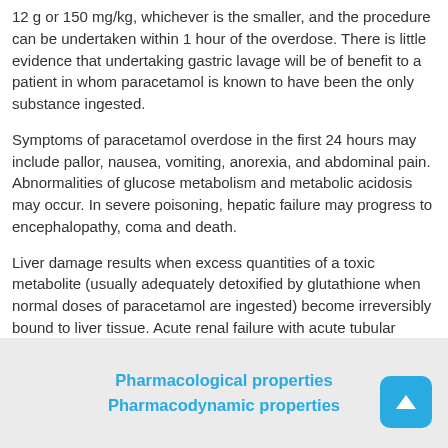12 g or 150 mg/kg, whichever is the smaller, and the procedure can be undertaken within 1 hour of the overdose. There is little evidence that undertaking gastric lavage will be of benefit to a patient in whom paracetamol is known to have been the only substance ingested.
Symptoms of paracetamol overdose in the first 24 hours may include pallor, nausea, vomiting, anorexia, and abdominal pain. Abnormalities of glucose metabolism and metabolic acidosis may occur. In severe poisoning, hepatic failure may progress to encephalopathy, coma and death.
Liver damage results when excess quantities of a toxic metabolite (usually adequately detoxified by glutathione when normal doses of paracetamol are ingested) become irreversibly bound to liver tissue. Acute renal failure with acute tubular necrosis may develop even in the absence of severe liver damage. Cardiac arrhythmias and pancreatitis have been reported.
Pharmacological properties
Pharmacodynamic properties